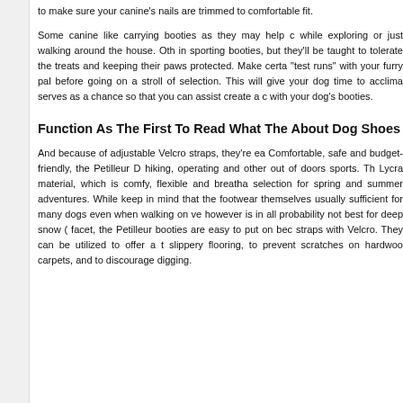to make sure your canine's nails are trimmed to comfortable fit.
Some canine like carrying booties as they may help c while exploring or just walking around the house. Oth in sporting booties, but they'll be taught to tolerate the treats and keeping their paws protected. Make certa "test runs" with your furry pal before going on a stroll of selection. This will give your dog time to acclima serves as a chance so that you can assist create a c with your dog's booties.
Function As The First To Read What The About Dog Shoes
And because of adjustable Velcro straps, they're ea Comfortable, safe and budget-friendly, the Petilleur D hiking, operating and other out of doors sports. Th Lycra material, which is comfy, flexible and breatha selection for spring and summer adventures. While keep in mind that the footwear themselves usually sufficient for many dogs even when walking on ve however is in all probability not best for deep snow ( facet, the Petilleur booties are easy to put on bec straps with Velcro. They can be utilized to offer a t slippery flooring, to prevent scratches on hardwoo carpets, and to discourage digging.